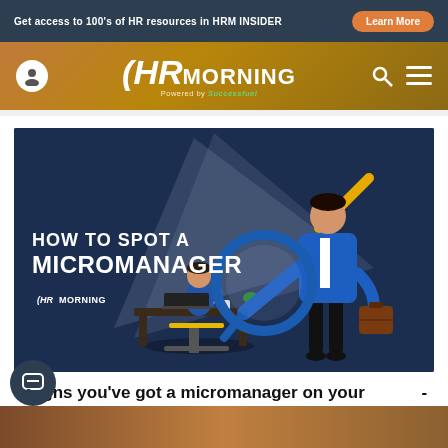Get access to 100's of HR resources in HRM INSIDER — Learn More
[Figure (logo): HR Morning logo with 'Powered by Successfuel' tagline, on a golden-brown gradient header bar with user icon, search icon, and hamburger menu]
[Figure (illustration): Illustration showing a large suited figure holding a magnifying glass examining a smaller seated worker at a desk. Text overlay: 'HOW TO SPOT A MICROMANAGER' with HR Morning logo. Dark navy blue background.]
5 signs you've got a micromanager on your hands - and how to help them overcome it